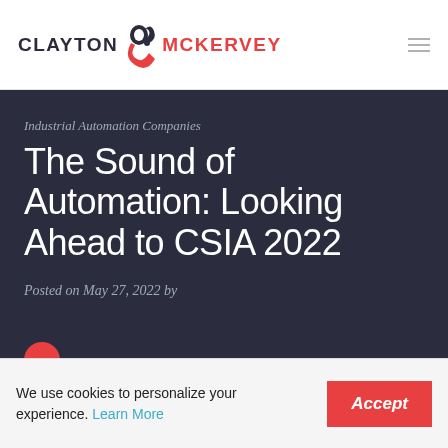[Figure (logo): Clayton & McKervey logo with stylized ampersand in red/dark colors]
Industrial Automation Companies
The Sound of Automation: Looking Ahead to CSIA 2022
Posted on May 27, 2022 by
We use cookies to personalize your experience. Learn More
Accept